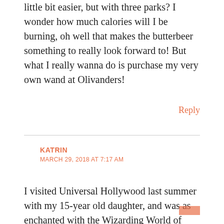little bit easier, but with three parks? I wonder how much calories will I be burning, oh well that makes the butterbeer something to really look forward to! But what I really wanna do is purchase my very own wand at Olivanders!
Reply
KATRIN
MARCH 29, 2018 AT 7:17 AM
I visited Universal Hollywood last summer with my 15-year old daughter, and was as enchanted with the Wizarding World of Harry Potter as you se to have been 🙂 Apart from that we enjoyed the